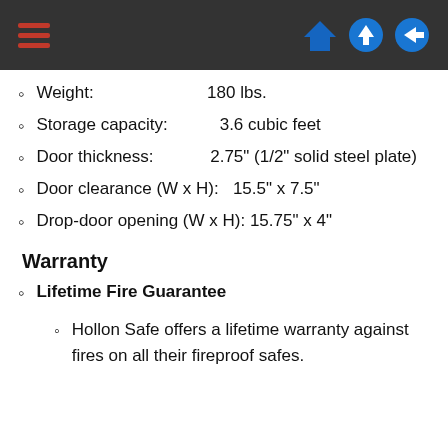Navigation header with hamburger menu and icons
Weight: 180 lbs.
Storage capacity: 3.6 cubic feet
Door thickness: 2.75" (1/2" solid steel plate)
Door clearance (W x H): 15.5" x 7.5"
Drop-door opening (W x H): 15.75" x 4"
Warranty
Lifetime Fire Guarantee
Hollon Safe offers a lifetime warranty against fires on all their fireproof safes.